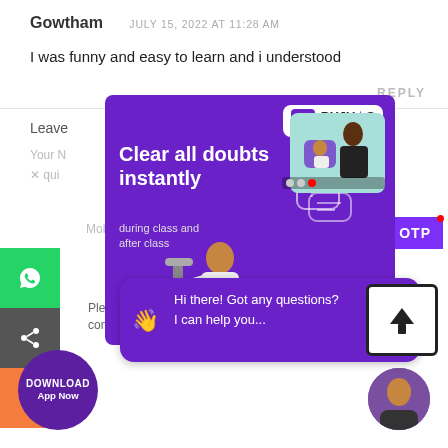Gowtham   JULY 15, 2022 AT 11:28 AM
I was funny and easy to learn and i understood
REPLY
[Figure (screenshot): BYJU'S Classes advertisement overlay showing 'Clear all doubts instantly during class and after class' with student and teacher illustrations on purple background]
Hi there! Got any questions? I can help you...
DOWNLOAD App Now